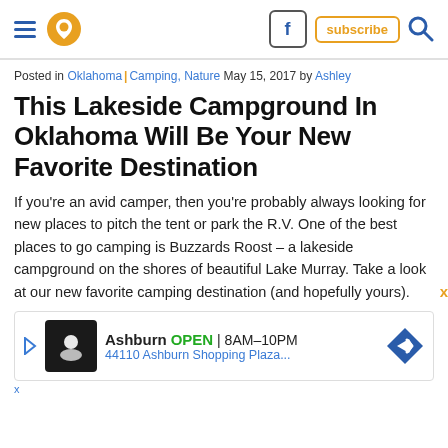Navigation bar with hamburger menu, pin icon, Facebook icon, subscribe button, search icon
Posted in Oklahoma | Camping, Nature May 15, 2017 by Ashley
This Lakeside Campground In Oklahoma Will Be Your New Favorite Destination
If you’re an avid camper, then you’re probably always looking for new places to pitch the tent or park the R.V. One of the best places to go camping is Buzzards Roost – a lakeside campground on the shores of beautiful Lake Murray. Take a look at our new favorite camping destination (and hopefully yours).
[Figure (other): Advertisement banner: Ashburn OPEN 8AM-10PM, 44110 Ashburn Shopping Plaza...]